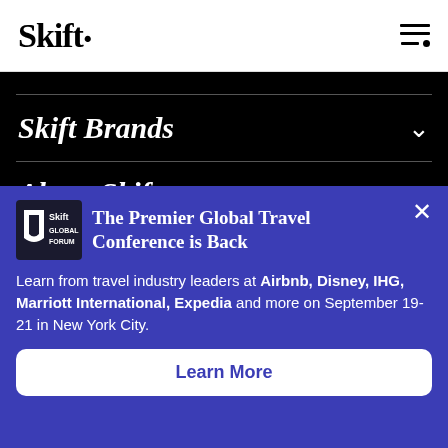Skift
Skift Brands
About Skift
The Premier Global Travel Conference is Back
Learn from travel industry leaders at Airbnb, Disney, IHG, Marriott International, Expedia and more on September 19-21 in New York City.
Learn More